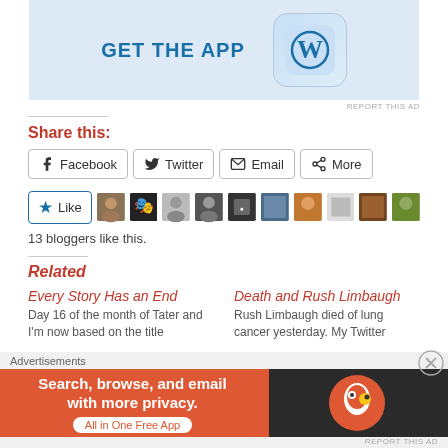[Figure (screenshot): WordPress 'Get The App' advertisement banner with WordPress logo icon on light blue background]
REPORT THIS AD
Share this:
Facebook
Twitter
Email
More
[Figure (screenshot): Like button with star icon followed by 10 blogger avatar thumbnails]
13 bloggers like this.
Related
Every Story Has an End
Day 16 of the month of Tater and I'm now based on the title
Death and Rush Limbaugh
Rush Limbaugh died of lung cancer yesterday. My Twitter
Advertisements
[Figure (screenshot): DuckDuckGo advertisement: 'Search, browse, and email with more privacy. All in One Free App' on orange background with DuckDuckGo logo on dark background]